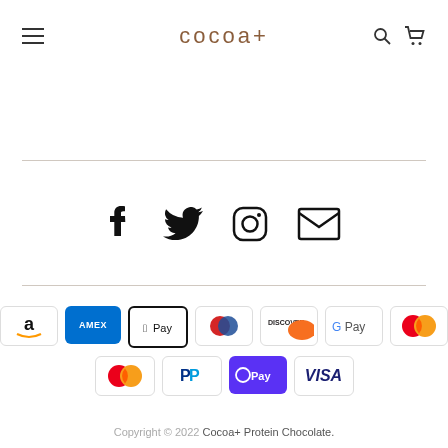cocoa+
[Figure (illustration): Social media icons: Facebook, Twitter, Instagram, Email]
[Figure (illustration): Payment method logos: Amazon Pay, Amex, Apple Pay, Diners Club, Discover, Google Pay, Mastercard (2 overlapping circles), Mastercard, PayPal, ShopPay, Visa]
Copyright © 2022 Cocoa+ Protein Chocolate.